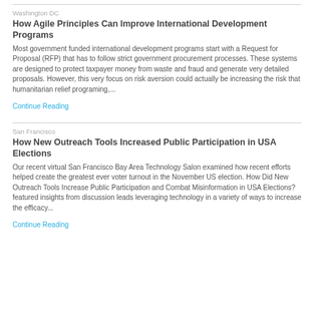Washington DC
How Agile Principles Can Improve International Development Programs
Most government funded international development programs start with a Request for Proposal (RFP) that has to follow strict government procurement processes. These systems are designed to protect taxpayer money from waste and fraud and generate very detailed proposals. However, this very focus on risk aversion could actually be increasing the risk that humanitarian relief programing,...
Continue Reading
San Francisco
How New Outreach Tools Increased Public Participation in USA Elections
Our recent virtual San Francisco Bay Area Technology Salon examined how recent efforts helped create the greatest ever voter turnout in the November US election. How Did New Outreach Tools Increase Public Participation and Combat Misinformation in USA Elections? featured insights from discussion leads leveraging technology in a variety of ways to increase the efficacy...
Continue Reading